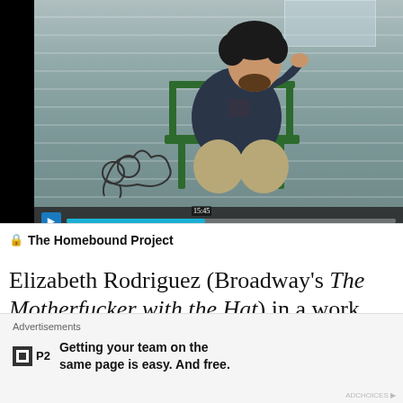[Figure (photo): Screenshot of a video player showing a young man with curly dark hair and a beard sitting in a green chair on a porch, wearing a dark navy hoodie and khaki pants. The background shows grey horizontal siding of a house. The video has a playback bar at the bottom with a progress indicator showing approximately 42% watched and a timestamp near 15:45. A black vertical bar appears on the left side of the video frame.]
The Homebound Project
Elizabeth Rodriguez (Broadway's The Motherfucker with the Hat) in a work called
Advertisements
Getting your team on the same page is easy. And free.